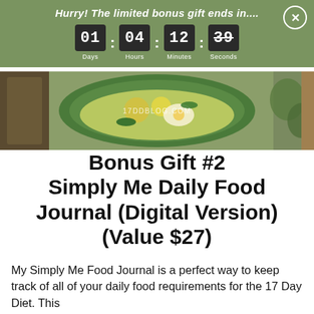[Figure (screenshot): Green banner with countdown timer showing 01 days, 04 hours, 12 minutes, 39 seconds and text 'Hurry! The limited bonus gift ends in....' with a close button]
[Figure (photo): Food photo showing a bowl of soup with vegetables and egg, with watermark 17DDBLOG.COM]
Bonus Gift #2 Simply Me Daily Food Journal (Digital Version) (Value $27)
My Simply Me Food Journal is a perfect way to keep track of all of your daily food requirements for the 17 Day Diet. This